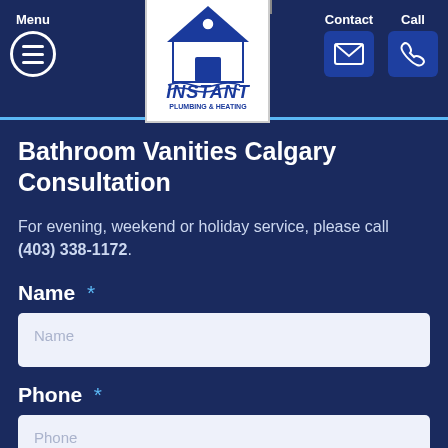Menu | Instant Plumbing & Heating Logo | Contact | Call
Bathroom Vanities Calgary Consultation
For evening, weekend or holiday service, please call (403) 338-1172.
Name *
Phone *